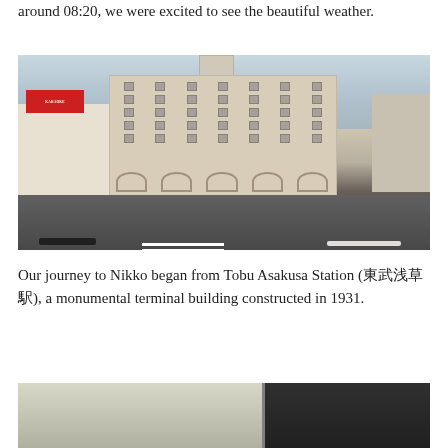around 08:20, we were excited to see the beautiful weather.
[Figure (photo): Street-level view of Tobu Asakusa Station, a large Art Deco terminal building with a clock tower, karaoke signs on the left, vehicles on the road, and pedestrians on the sidewalk.]
Our journey to Nikko began from Tobu Asakusa Station (東武浅草駅), a monumental terminal building constructed in 1931.
[Figure (photo): Interior of a train station or building, showing a ceiling and a dark wall partition.]